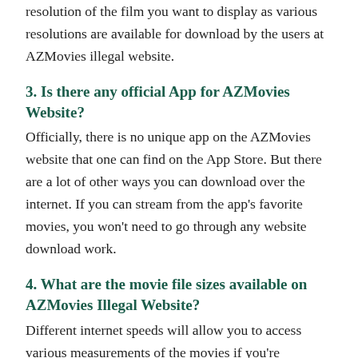resolution of the film you want to display as various resolutions are available for download by the users at AZMovies illegal website.
3. Is there any official App for AZMovies Website?
Officially, there is no unique app on the AZMovies website that one can find on the App Store. But there are a lot of other ways you can download over the internet. If you can stream from the app's favorite movies, you won't need to go through any website download work.
4. What are the movie file sizes available on AZMovies Illegal Website?
Different internet speeds will allow you to access various measurements of the movies if you're downloading on the mobile internet or laptop. The